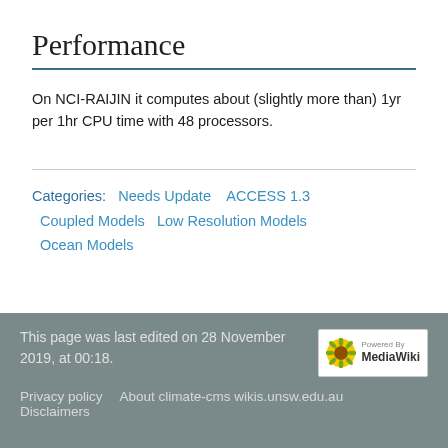Performance
On NCI-RAIJIN it computes about (slightly more than) 1yr per 1hr CPU time with 48 processors.
Categories:  Needs Update    ACCESS 1.3    Coupled Models    Low Resolution Models    Ocean Models
This page was last edited on 28 November 2019, at 00:18.
Privacy policy    About climate-cms wikis.unsw.edu.au    Disclaimers